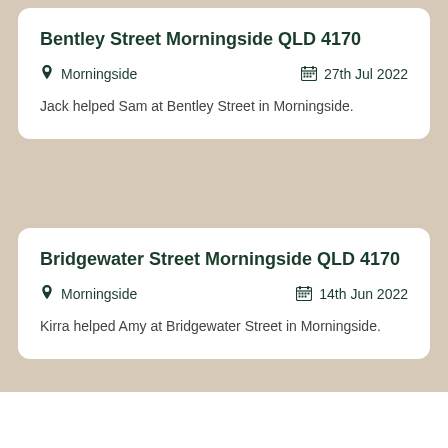Bentley Street Morningside QLD 4170
Morningside   27th Jul 2022
Jack helped Sam at Bentley Street in Morningside.
Bridgewater Street Morningside QLD 4170
Morningside   14th Jun 2022
Kirra helped Amy at Bridgewater Street in Morningside.